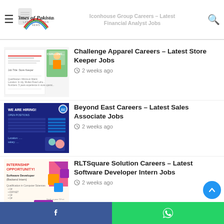Times of Pakistan – Latest Pakistan News | Iconhouse Group Careers – Latest Financial Analyst Jobs
Challenge Apparel Careers – Latest Store Keeper Jobs
2 weeks ago
Beyond East Careers – Latest Sales Associate Jobs
2 weeks ago
RLTSquare Solution Careers – Latest Software Developer Intern Jobs
2 weeks ago
Ocean Ceramics Careers – Latest Accounts Officer Jobs
Facebook | WhatsApp